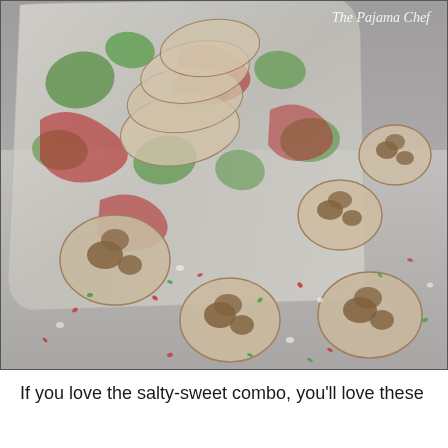[Figure (photo): Photo of white chocolate-dipped pretzels with red and green sprinkles scattered on a gray surface, with a colorful patterned plastic bag in the background. Watermark reads 'The Pajama Chef' in the upper right corner.]
If you love the salty-sweet combo, you'll love these